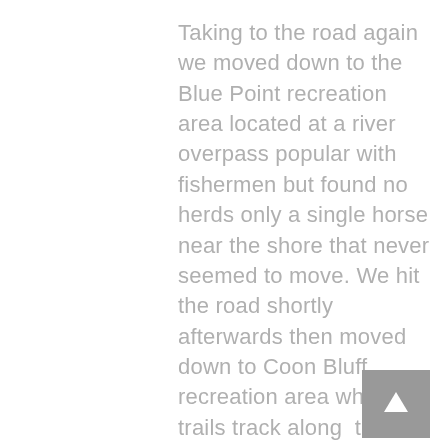Taking to the road again we moved down to the Blue Point recreation area located at a river overpass popular with fishermen but found no herds only a single horse near the shore that never seemed to move. We hit the road shortly afterwards then moved down to Coon Bluff recreation area where trails track along  the ridge above the river and down to the river. It was late morning and there were no horses to be found anywhere near the water. We then headed down to Phon B. Sutton and again after an area recon came up empty. Back at Coon Bluff we meet a local bird watcher on the trail and she told us that the horses tend to come down to the river in the late afternoon. We thought that was our best